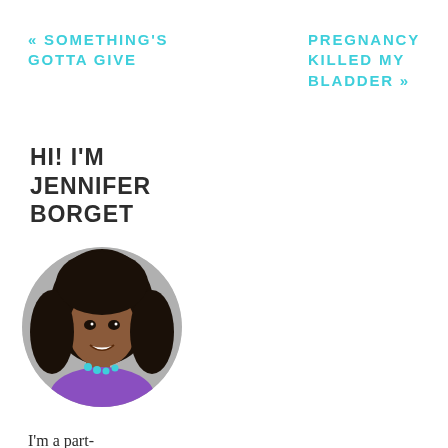« SOMETHING'S GOTTA GIVE
PREGNANCY KILLED MY BLADDER »
HI! I'M JENNIFER BORGET
[Figure (photo): Circular profile photo of Jennifer Borget, a woman with curly dark hair wearing a purple top and teal necklace, smiling, on a grey background.]
I'm a part-time